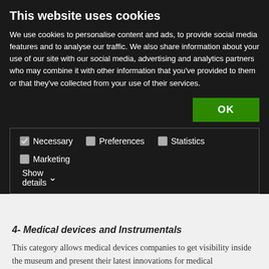This website uses cookies
We use cookies to personalise content and ads, to provide social media features and to analyse our traffic. We also share information about your use of our site with our social media, advertising and analytics partners who may combine it with other information that you've provided to them or that they've collected from your use of their services.
OK
Necessary  Preferences  Statistics  Marketing  Show details
4- Medical devices and Instrumentals
This category allows medical devices companies to get visibility inside the museum and present their latest innovations for medical practitioners. Medical devices companies can present their devices with digital manuals and 3D illustrations about how it works, boosting their sales using the metaverse.
Third, profitability
For the first time in the NFTs space, NFT holders can make profits from fees paid to view specific categories of the NFTs